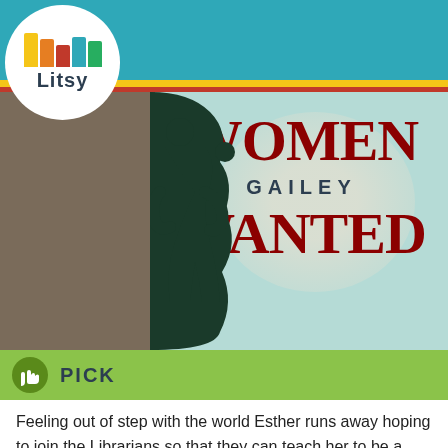[Figure (screenshot): Litsy app screenshot showing a book cover for 'Women Wanted' by Gailey, with navigation bar at top, a PICK label, and description text below.]
PICK
Feeling out of step with the world Esther runs away hoping to join the Librarians so that they can teach her to be a more upright citizen. Instead she learns that that there is more to the world and